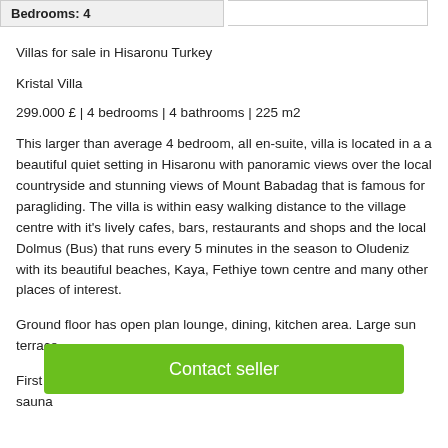Bedrooms: 4
Villas for sale in Hisaronu Turkey
Kristal Villa
299.000 £ | 4 bedrooms | 4 bathrooms | 225 m2
This larger than average 4 bedroom, all en-suite, villa is located in a a beautiful quiet setting in Hisaronu with panoramic views over the local countryside and stunning views of Mount Babadag that is famous for paragliding. The villa is within easy walking distance to the village centre with it's lively cafes, bars, restaurants and shops and the local Dolmus (Bus) that runs every 5 minutes in the season to Oludeniz with its beautiful beaches, Kaya, Fethiye town centre and many other places of interest.
Ground floor has open plan lounge, dining, kitchen area. Large sun terrace
Contact seller
First ... s and sauna